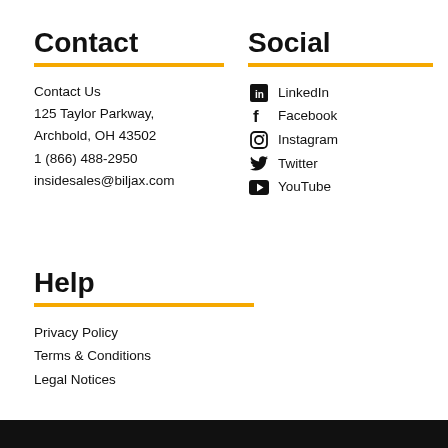Contact
Contact Us
125 Taylor Parkway,
Archbold, OH 43502
1 (866) 488-2950
insidesales@biljax.com
Social
LinkedIn
Facebook
Instagram
Twitter
YouTube
Help
Privacy Policy
Terms & Conditions
Legal Notices